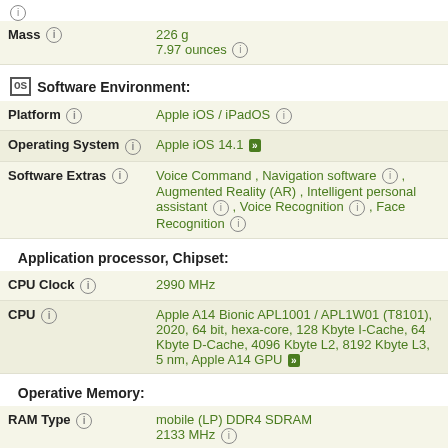| Property | Value |
| --- | --- |
| Mass | 226 g
7.97 ounces |
Software Environment:
| Property | Value |
| --- | --- |
| Platform | Apple iOS / iPadOS |
| Operating System | Apple iOS 14.1 |
| Software Extras | Voice Command , Navigation software , Augmented Reality (AR) , Intelligent personal assistant , Voice Recognition , Face Recognition |
Application processor, Chipset:
| Property | Value |
| --- | --- |
| CPU Clock | 2990 MHz |
| CPU | Apple A14 Bionic APL1001 / APL1W01 (T8101), 2020, 64 bit, hexa-core, 128 Kbyte I-Cache, 64 Kbyte D-Cache, 4096 Kbyte L2, 8192 Kbyte L3, 5 nm, Apple A14 GPU |
Operative Memory:
| Property | Value |
| --- | --- |
| RAM Type | mobile (LP) DDR4 SDRAM
2133 MHz |